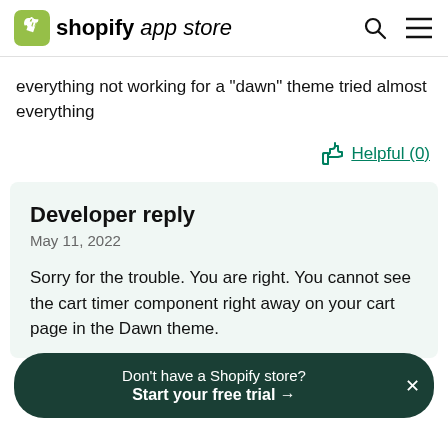shopify app store
everything not working for a "dawn" theme tried almost everything
Helpful (0)
Developer reply
May 11, 2022
Sorry for the trouble. You are right. You cannot see the cart timer component right away on your cart page in the Dawn theme.
Don't have a Shopify store? Start your free trial →